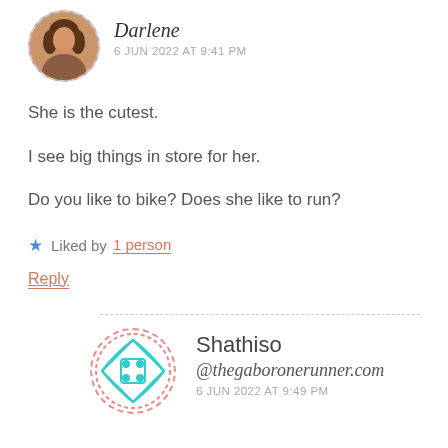Darlene
6 JUN 2022 AT 9:41 PM
She is the cutest.
I see big things in store for her.
Do you like to bike? Does she like to run?
★ Liked by 1 person
Reply
Shathiso
@thegaboronerunner.com
6 JUN 2022 AT 9:49 PM